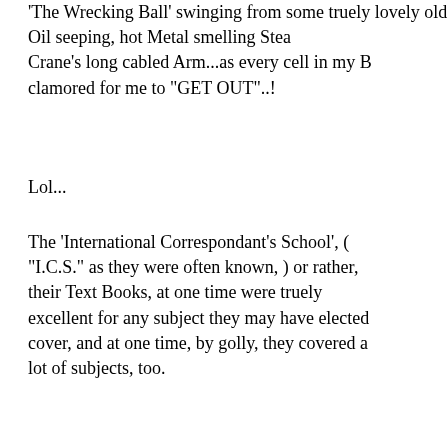'The Wrecking Ball' swinging from some truely lovely old Oil seeping, hot Metal smelling Steam Crane's long cabled Arm...as every cell in my B clamored for me to "GET OUT"..!
Lol...
The 'International Correspondant's School', ( "I.C.S." as they were often known, ) or rather, their Text Books, at one time were truely excellent for any subject they may have elected cover, and at one time, by golly, they covered a lot of subjects, too.
One could not ask for kinder, more elucidating, careful and well written, earnest, no nonesense Books.
If one were to be able to start a 'new' Civilization, or rather, start a Civilization in the first place, one would do well to bring some gamut of these...